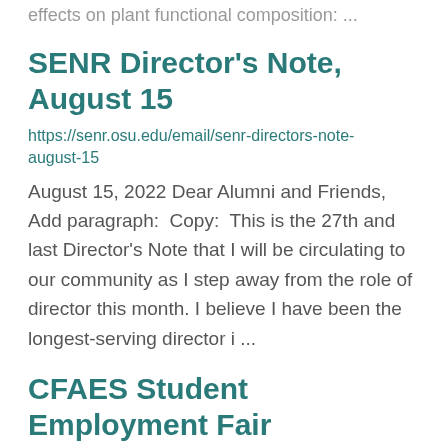effects on plant functional composition:  ...
SENR Director's Note, August 15
https://senr.osu.edu/email/senr-directors-note-august-15
August 15, 2022 Dear Alumni and Friends, Add paragraph:  Copy:  This is the 27th and last Director’s Note that I will be circulating to our community as I step away from the role of director this month. I believe I have been the longest-serving director i ...
CFAES Student Employment Fair
https://senr.osu.edu/events/cfaes-student-employment-fair